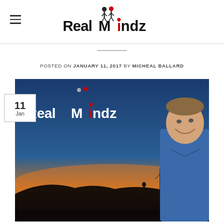RealMindz
POSTED ON JANUARY 11, 2017 BY MICHEAL BALLARD
[Figure (photo): RealMindz branded featured image showing a sunset landscape with a silhouette of a person on a hilltop, wind turbines in the background, and a smiling man in a blue shirt in the foreground right. The RealMindz logo and a date badge showing '11 Jan' are overlaid on the image.]